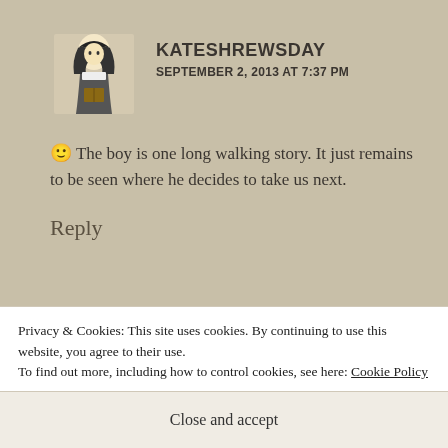[Figure (photo): Avatar image of Kateshrewsday showing a illustrated/painted figure of a person in medieval style]
KATESHREWSDAY
SEPTEMBER 2, 2013 AT 7:37 PM
🙂 The boy is one long walking story. It just remains to be seen where he decides to take us next.
Reply
[Figure (illustration): Avatar image with teal/turquoise geometric pattern for Food,Photography & France user]
FOOD,PHOTOGRAPHY & FRANCE
SEPTEMBER 2, 2013 AT 4:12 PM
Privacy & Cookies: This site uses cookies. By continuing to use this website, you agree to their use.
To find out more, including how to control cookies, see here: Cookie Policy
Close and accept
disaster is something we Brits have never thought